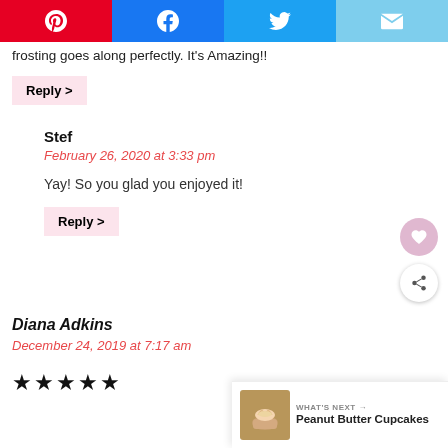[Figure (other): Social share buttons: Pinterest (red), Facebook (blue), Twitter (light blue), Email (sky blue)]
frosting goes along perfectly. It's Amazing!!
Reply >
Stef
February 26, 2020 at 3:33 pm
Yay! So you glad you enjoyed it!
Reply >
Diana Adkins
December 24, 2019 at 7:17 am
★★★★★